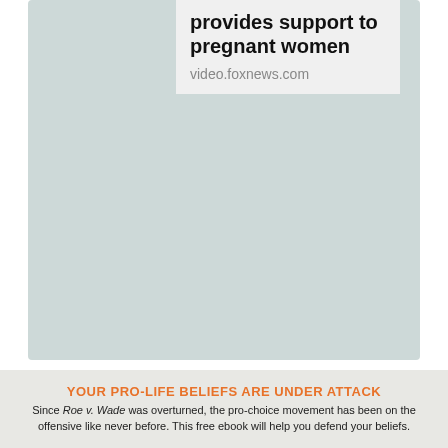[Figure (screenshot): A social media card preview with a teal/green-gray background. The link preview box shows a bold headline and the URL video.foxnews.com.]
provides support to pregnant women
video.foxnews.com
YOUR PRO-LIFE BELIEFS ARE UNDER ATTACK
Since Roe v. Wade was overturned, the pro-choice movement has been on the offensive like never before. This free ebook will help you defend your beliefs.